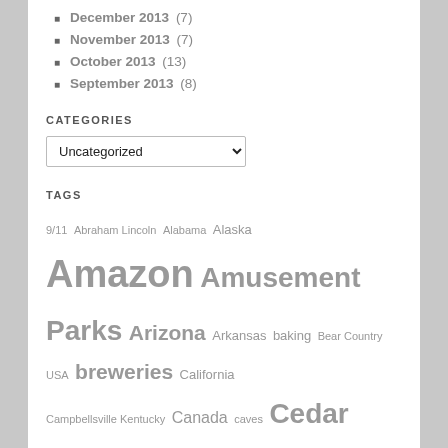December 2013 (7)
November 2013 (7)
October 2013 (13)
September 2013 (8)
CATEGORIES
Uncategorized (dropdown)
TAGS
9/11 Abraham Lincoln Alabama Alaska Amazon Amusement Parks Arizona Arkansas baking Bear Country USA breweries California Campbellsville Kentucky Canada caves Cedar Key Chapel of the Holy Cross church Cocoa Beach Crazy Horse Memorial distillery Epcot Family FL Ft Knox Full-time RVing Grand Teton National Park